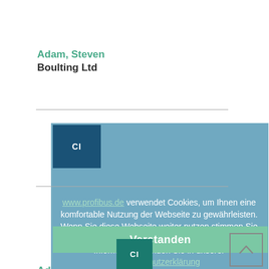Adam, Steven
Boulting Ltd
[Figure (screenshot): Cookie consent overlay on www.profibus.de with German text about cookie usage, a blue overlay background with cookie notice, green 'Verstanden' button, and CI badges]
Adler, Wilhelm
DMG MORI Academy GmbH
AFEKIR, Mostafa
VIAPOST MAINTENANCE